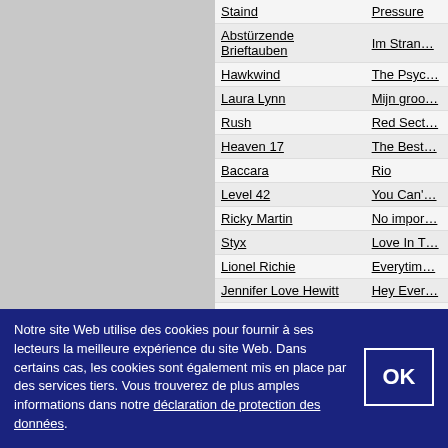| Artist | Album/Song |
| --- | --- |
| Staind | Pressure |
| Abstürzende Brieftauben | Im Stran… |
| Hawkwind | The Psyc… |
| Laura Lynn | Mijn groo… |
| Rush | Red Sect… |
| Heaven 17 | The Best… |
| Baccara | Rio |
| Level 42 | You Can'… |
| Ricky Martin | No impor… |
| Styx | Love In T… |
| Lionel Richie | Everytim… |
| Jennifer Love Hewitt | Hey Ever… |
| Michael Bolton | You Send… |
| Viktor Lazlo | Pearl's A… |
| Asia | Summer… |
| Olsen Brothers | Angelina |
| Shakedown | Get Down… |
| Cliff Richard feat. Olivia | Had To B… |
Notre site Web utilise des cookies pour fournir à ses lecteurs la meilleure expérience du site Web. Dans certains cas, les cookies sont également mis en place par des services tiers. Vous trouverez de plus amples informations dans notre déclaration de protection des données.